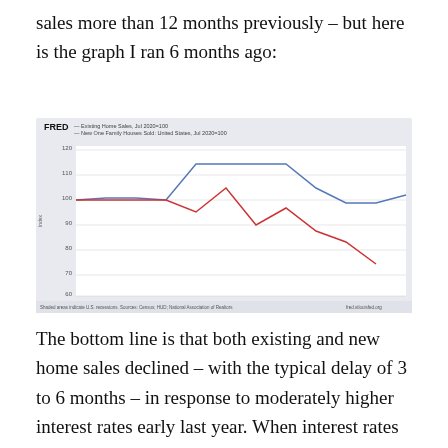sales more than 12 months previously – but here is the graph I ran 6 months ago:
[Figure (line-chart): FRED — Existing Home Sales, Jul 2020=100 / New One Family Houses Sold: United States, Jul 2020=100]
The bottom line is that both existing and new home sales declined – with the typical delay of 3 to 6 months – in response to moderately higher interest rates early last year. When interest rates declined again during autumn, new and existing home sales